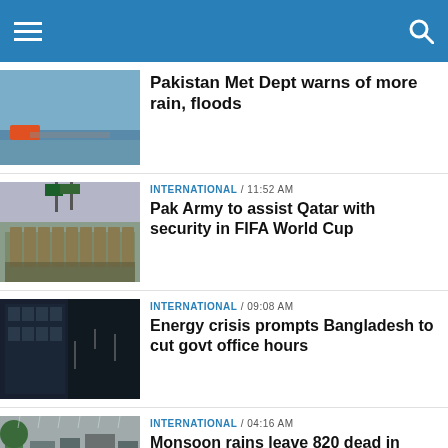News website header with hamburger menu and search icon
[Figure (photo): People wading through floodwaters]
Pakistan Met Dept warns of more rain, floods
INTERNATIONAL / 11:52 AM
[Figure (photo): Pakistan Army soldiers marching in formation]
Pak Army to assist Qatar with security in FIFA World Cup
INTERNATIONAL / 09:08 AM
[Figure (photo): Dark building exterior with warm lights inside]
Energy crisis prompts Bangladesh to cut govt office hours
INTERNATIONAL / 04:16 AM
[Figure (photo): Rainy street scene in Pakistan]
Monsoon rains leave 820 dead in Pakistan